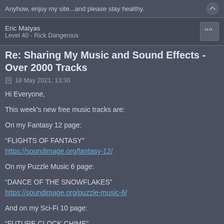Anyhow, enjoy my site...and please stay healthy.
Eric Matyas
Level 40 - Rick Dangerous
Re: Sharing My Music and Sound Effects - Over 2000 Tracks
18 May 2021, 13:30
Hi Everyone,
This week's new free music tracks are:
On my Fantasy 12 page:
“FLIGHTS OF FANTASY”
https://soundimage.org/fantasy-12/
On my Puzzle Music 6 page:
“DANCE OF THE SNOWFLAKES”
https://soundimage.org/puzzle-music-6/
And on my Sci-Fi 10 page:
“FUTURE CLOCK CHIME”